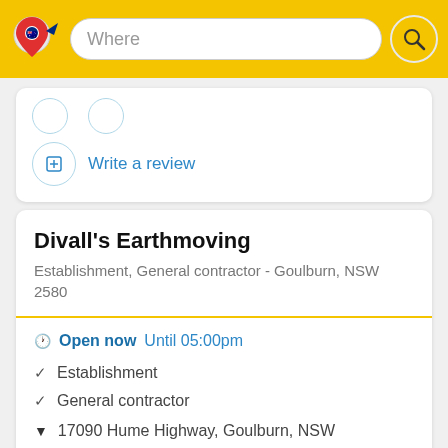[Figure (screenshot): Yellow header bar with Australian map pin logo and 'Where' search input field with search button]
Write a review
Divall's Earthmoving
Establishment, General contractor - Goulburn, NSW 2580
Open now Until 05:00pm
✓ Establishment
✓ General contractor
▼ 17090 Hume Highway, Goulburn, NSW
+61 2 4829 8200
divalls.com.au